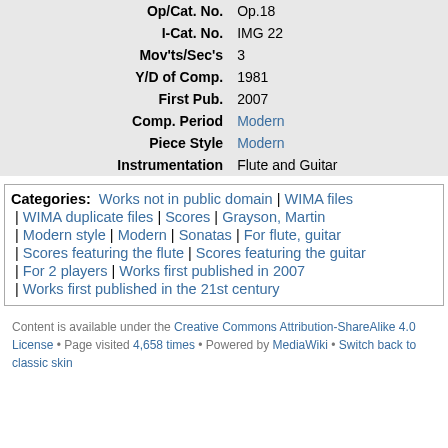| Op/Cat. No. | Op.18 |
| I-Cat. No. | IMG 22 |
| Mov'ts/Sec's | 3 |
| Y/D of Comp. | 1981 |
| First Pub. | 2007 |
| Comp. Period | Modern |
| Piece Style | Modern |
| Instrumentation | Flute and Guitar |
Categories: Works not in public domain | WIMA files | WIMA duplicate files | Scores | Grayson, Martin | Modern style | Modern | Sonatas | For flute, guitar | Scores featuring the flute | Scores featuring the guitar | For 2 players | Works first published in 2007 | Works first published in the 21st century
Content is available under the Creative Commons Attribution-ShareAlike 4.0 License • Page visited 4,658 times • Powered by MediaWiki • Switch back to classic skin